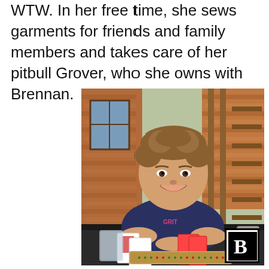WTW. In her free time, she sews garments for friends and family members and takes care of her pitbull Grover, who she owns with Brennan.
[Figure (photo): A smiling young woman with short curly hair sitting at an outdoor table. She is wearing a dark navy t-shirt and leaning forward with her hands clasped. On the table in front of her are playing cards, a cribbage board, and a glass drink. The background shows a brick building exterior and wooden stairs. A bold 'B' logo appears in the bottom-right corner of the image.]